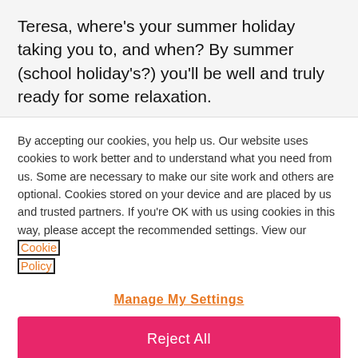Teresa, where's your summer holiday taking you to, and when? By summer (school holiday's?) you'll be well and truly ready for some relaxation.
By accepting our cookies, you help us. Our website uses cookies to work better and to understand what you need from us. Some are necessary to make our site work and others are optional. Cookies stored on your device and are placed by us and trusted partners. If you're OK with us using cookies in this way, please accept the recommended settings. View our Cookie Policy
Manage My Settings
Reject All
Accept All Cookies